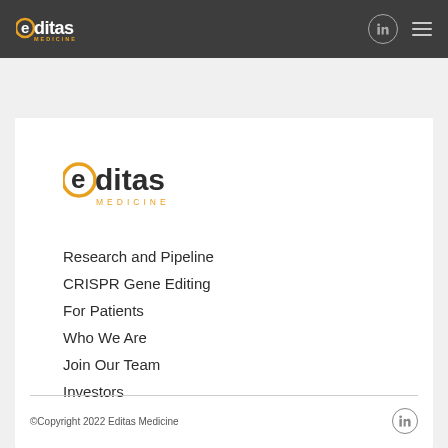Editas Medicine | navigation bar with LinkedIn icon and hamburger menu
[Figure (logo): Editas Medicine logo in white card - stylized 'editas' with orange circle 'e' and MEDICINE subtitle]
Research and Pipeline
CRISPR Gene Editing
For Patients
Who We Are
Join Our Team
Investors
©Copyright 2022 Editas Medicine